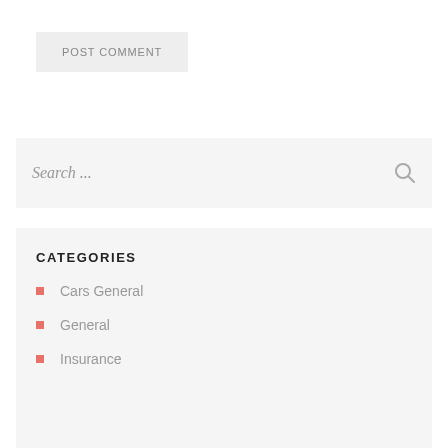POST COMMENT
Search ...
CATEGORIES
Cars General
General
Insurance